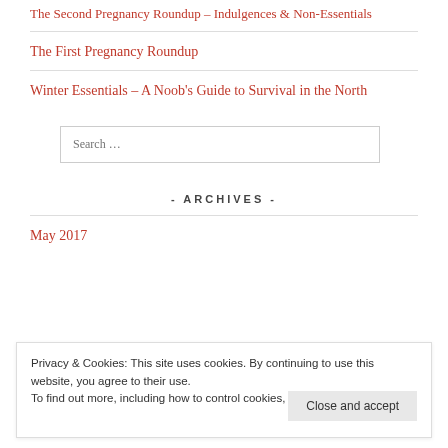The Second Pregnancy Roundup – Indulgences & Non-Essentials
The First Pregnancy Roundup
Winter Essentials – A Noob's Guide to Survival in the North
Search …
- ARCHIVES -
May 2017
Privacy & Cookies: This site uses cookies. By continuing to use this website, you agree to their use.
To find out more, including how to control cookies, see here: Cookie Policy
Close and accept